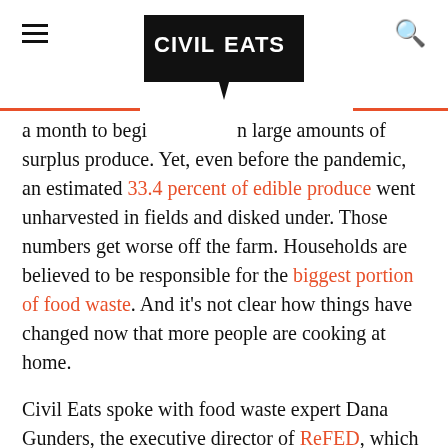Civil Eats
a month to begin [accepting] large amounts of surplus produce. Yet, even before the pandemic, an estimated 33.4 percent of edible produce went unharvested in fields and disked under. Those numbers get worse off the farm. Households are believed to be responsible for the biggest portion of food waste. And it's not clear how things have changed now that more people are cooking at home.
Civil Eats spoke with food waste expert Dana Gunders, the executive director of ReFED, which just announced a grant program aimed at preventing 10 million pounds of food waste over the next 90 days, about the current state of food